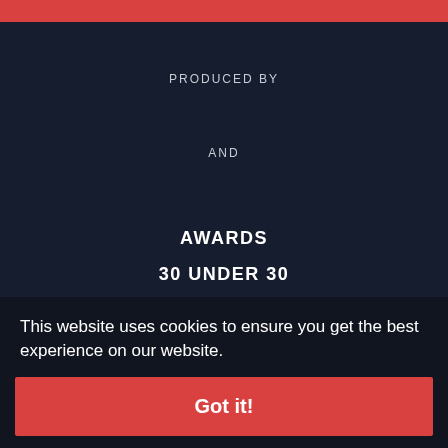PRODUCED BY
AND
AWARDS
30 UNDER 30
INSIGHT & OPINION
ABOUT
CONTACT
This website uses cookies to ensure you get the best experience on our website.
Got it!